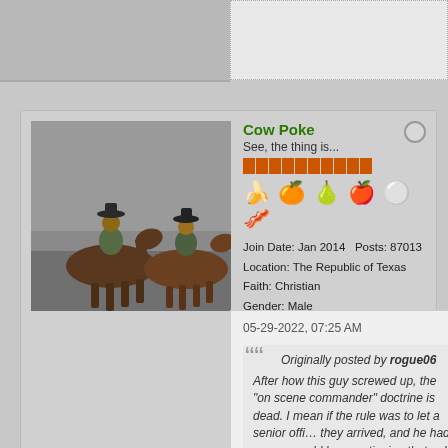[Figure (screenshot): Forum post screenshot showing user 'Cow Poke' profile card with avatar photo of horse riders, reputation bar, emojis, join date Jan 2014, Posts 87013, Location The Republic of Texas, Amens Received 4968, Amens Given 3864]
Cow Poke
See, the thing is...
Join Date: Jan 2014  Posts: 87013
Location: The Republic of Texas
Amens Received: 4,968
Amens Given: 3,864
05-29-2022, 07:25 AM
Originally posted by rogue06
After how this guy screwed up, the "on scene commander" doctrine is dead. I mean if the rule was to let a senior officer take charge as they arrived, and he had screwed up, no one would be questioning that poli